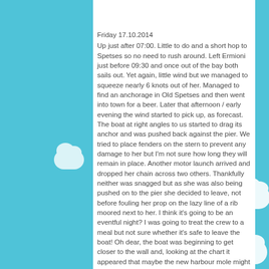Friday 17.10.2014
Up just after 07:00. Little to do and a short hop to Spetses so no need to rush around. Left Ermioni just before 09:30 and once out of the bay both sails out. Yet again, little wind but we managed to squeeze nearly 6 knots out of her. Managed to find an anchorage in Old Spetses and then went into town for a beer. Later that afternoon / early evening the wind started to pick up, as forecast. The boat at right angles to us started to drag its anchor and was pushed back against the pier. We tried to place fenders on the stern to prevent any damage to her but I'm not sure how long they will remain in place. Another motor launch arrived and dropped her chain across two others. Thankfully neither was snagged but as she was also being pushed on to the pier she decided to leave, not before fouling her prop on the lazy line of a rib moored next to her. I think it's going to be an eventful night? I was going to treat the crew to a meal but not sure whether it's safe to leave the boat! Oh dear, the boat was beginning to get closer to the wall and, looking at the chart it appeared that maybe the new harbour mole might give some better protection. When Andy and Kevin came back I told them my thoughts.
Unfortunately they allowed me to persuade them